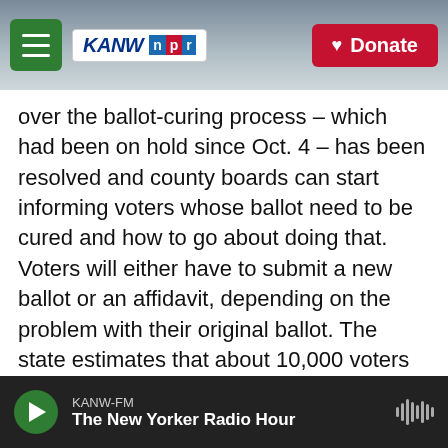KANW NPR — Donate
over the ballot-curing process – which had been on hold since Oct. 4 – has been resolved and county boards can start informing voters whose ballot need to be cured and how to go about doing that. Voters will either have to submit a new ballot or an affidavit, depending on the problem with their original ballot. The state estimates that about 10,000 voters will be affected.
"We're basically changing the rules of the game in the middle of the game," said Bitzer.
Similar legal fights are being waged in other states
KANW-FM — The New Yorker Radio Hour